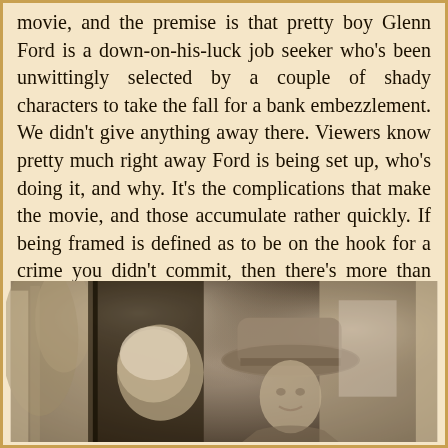movie, and the premise is that pretty boy Glenn Ford is a down-on-his-luck job seeker who's been unwittingly selected by a couple of shady characters to take the fall for a bank embezzlement. We didn't give anything away there. Viewers know pretty much right away Ford is being set up, who's doing it, and why. It's the complications that make the movie, and those accumulate rather quickly. If being framed is defined as to be on the hook for a crime you didn't commit, then there's more than one framee in this film, which is where clever scripting comes in to rescue a bottom drawer budget. In the end you get a nice b-noir with a title that takes on more significance than you'd at first assume. We recommend it highly.
[Figure (photo): Black and white film still showing two figures, one wearing a wide-brimmed hat, in what appears to be a scene from a noir film with curtains and foliage visible in the background.]